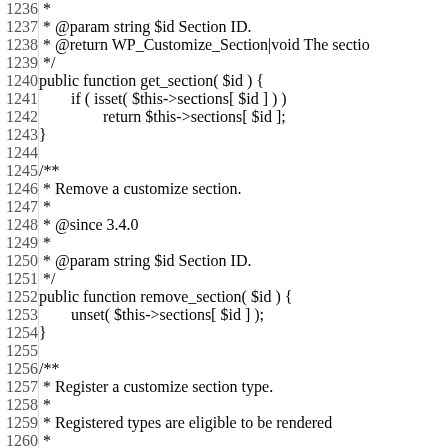Code listing lines 1236-1267 showing PHP source code for WordPress Customize Manager class methods: get_section and remove_section and register_section_type documentation and implementation.